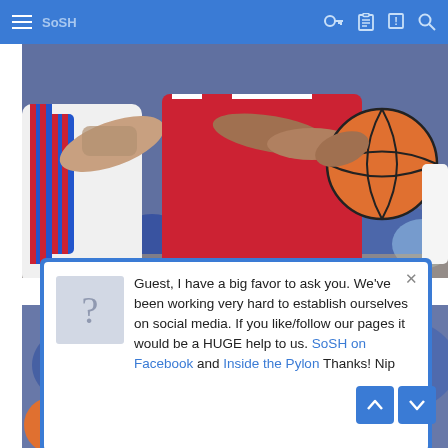SoSH (navigation bar with hamburger menu, logo, key/clipboard/alert/search icons)
[Figure (photo): Close-up action photo of two basketball players fighting for ball — one in red Alabama uniform, other in white with red-blue striped warm-up, holding orange basketball. Arena crowd visible in background.]
[Figure (photo): Partial basketball game photo showing Alabama player in red uniform and another player, arena crowd in background.]
Guest, I have a big favor to ask you. We've been working very hard to establish ourselves on social media. If you like/follow our pages it would be a HUGE help to us. SoSH on Facebook and Inside the Pylon Thanks! Nip